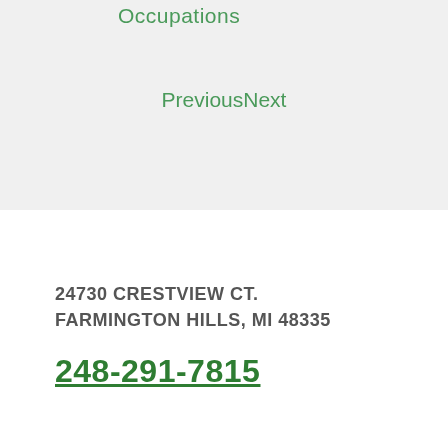Occupations
PreviousNext
24730 CRESTVIEW CT.
FARMINGTON HILLS, MI 48335
248-291-7815